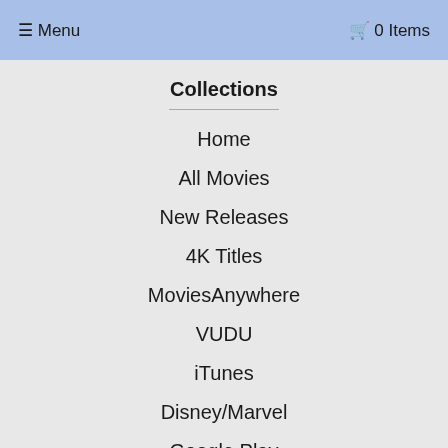☰ Menu   🛒 0 Items
Collections
Home
All Movies
New Releases
4K Titles
MoviesAnywhere
VUDU
iTunes
Disney/Marvel
Google Play
Sale ($3 or less)
Get In Touch